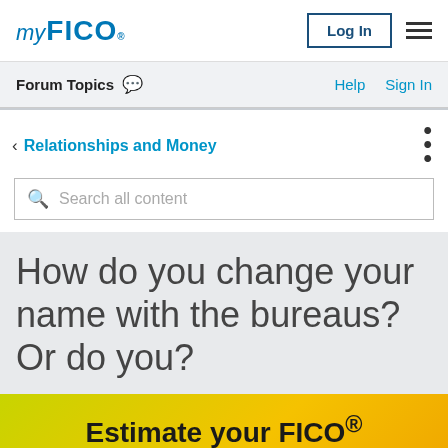myFICO
Forum Topics
Help   Sign In
< Relationships and Money
Search all content
How do you change your name with the bureaus? Or do you?
Estimate your FICO®